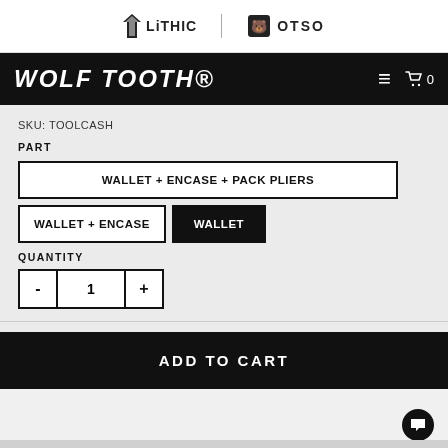[Figure (logo): Lithic logo with crystal/gem icon and text 'LiTHIC']
[Figure (logo): OTSO logo with bear icon and text 'OTSO']
WOLF TOOTH
SKU: TOOLCASH
PART
WALLET + ENCASE + PACK PLIERS
WALLET + ENCASE
WALLET
QUANTITY
- 1 +
ADD TO CART